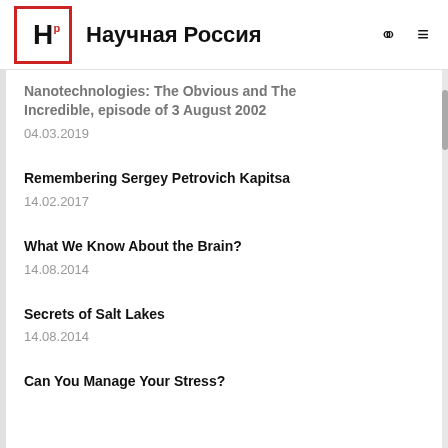Научная Россия
Nanotechnologies: The Obvious and The Incredible, episode of 3 August 2002
04.03.2019
Remembering Sergey Petrovich Kapitsa
14.02.2017
What We Know About the Brain?
14.08.2014
Secrets of Salt Lakes
14.08.2014
Can You Manage Your Stress?